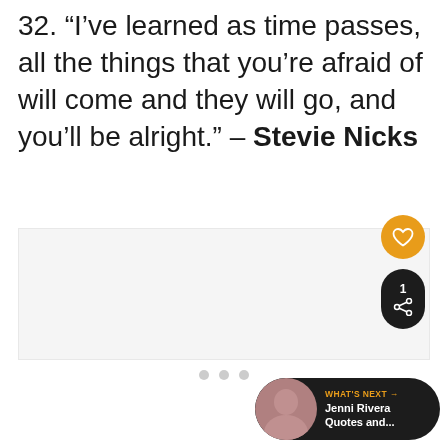32. “I’ve learned as time passes, all the things that you’re afraid of will come and they will go, and you’ll be alright.” – Stevie Nicks
[Figure (other): Gray placeholder image area with like button (orange heart), share button group (dark with count 1 and share icon), and navigation dots]
[Figure (infographic): What's Next panel showing Jenni Rivera Quotes and... with thumbnail photo]